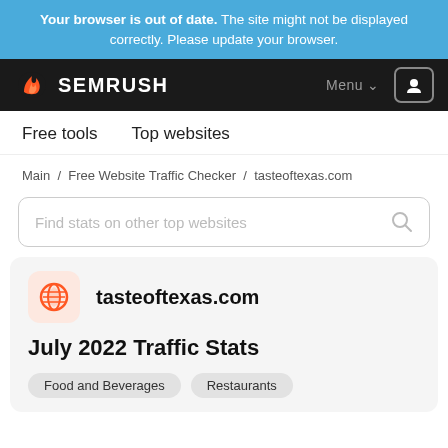Your browser is out of date. The site might not be displayed correctly. Please update your browser.
SEMRUSH — Menu / User
Free tools   Top websites
Main / Free Website Traffic Checker / tasteoftexas.com
Find stats on other top websites
tasteoftexas.com
July 2022 Traffic Stats
Food and Beverages   Restaurants